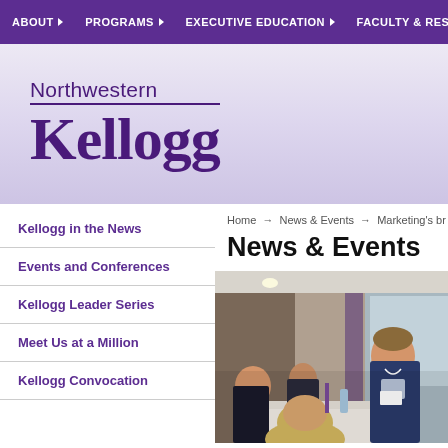ABOUT | PROGRAMS | EXECUTIVE EDUCATION | FACULTY & RESEARCH
[Figure (logo): Northwestern Kellogg school logo with purple text on gradient background]
Kellogg in the News
Events and Conferences
Kellogg Leader Series
Meet Us at a Million
Kellogg Convocation
Home → News & Events → Marketing's br
News & Events
[Figure (photo): Event photo showing people networking at a Kellogg event, a man in a blue blazer laughing with a woman with blonde hair in the foreground, at a table in an event space]